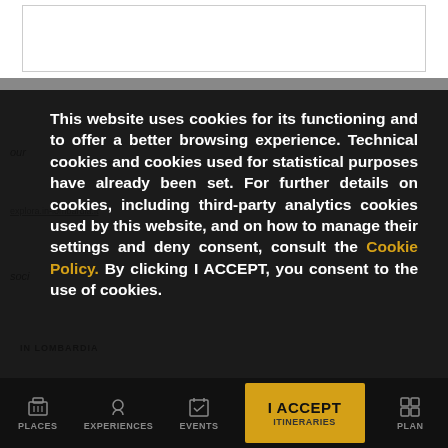[Figure (screenshot): White top section with a bordered box/input area]
This website uses cookies for its functioning and to offer a better browsing experience. Technical cookies and cookies used for statistical purposes have already been set. For further details on cookies, including third-party analytics cookies used by this website, and on how to manage their settings and deny consent, consult the Cookie Policy. By clicking I ACCEPT, you consent to the use of cookies.
[Figure (screenshot): Bottom navigation bar with PLACES, EXPERIENCES, EVENTS, ITINERARIES (I ACCEPT button in gold), and PLAN icons]